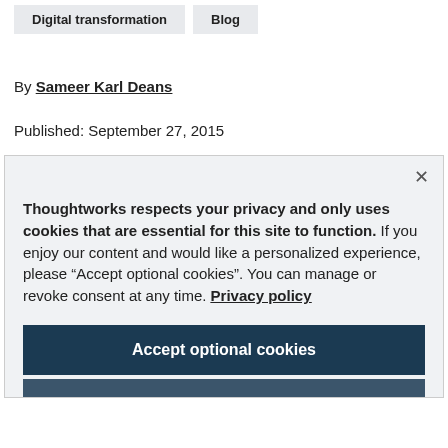Digital transformation
Blog
By Sameer Karl Deans
Published: September 27, 2015
Thoughtworks respects your privacy and only uses cookies that are essential for this site to function. If you enjoy our content and would like a personalized experience, please “Accept optional cookies”. You can manage or revoke consent at any time. Privacy policy
Accept optional cookies